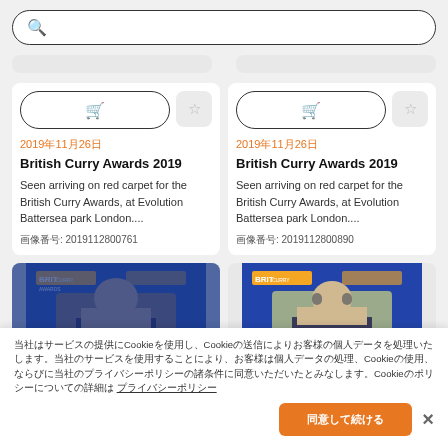（search placeholder）
British Curry Awards 2019
2019年11月26日
Seen arriving on red carpet for the British Curry Awards, at Evolution Battersea park London....
画像番号: 2019112800761
British Curry Awards 2019
2019年11月26日
Seen arriving on red carpet for the British Curry Awards, at Evolution Battersea park London....
画像番号: 2019112800890
[Figure (photo): Photo of person at British Curry Awards 2019]
[Figure (photo): Photo of person at British Curry Awards 2019]
当社はサービスの提供にCookieを使用し、Cookieの送信によりお客様の個人データを処理いたします。当社のサービスを使用することにより、お客様は個人データの処理、Cookieの使用、ならびに当社のプライバシーポリシーの諸条件に同意いただいたとみなします。 プライバシーポリシー
同意して続ける